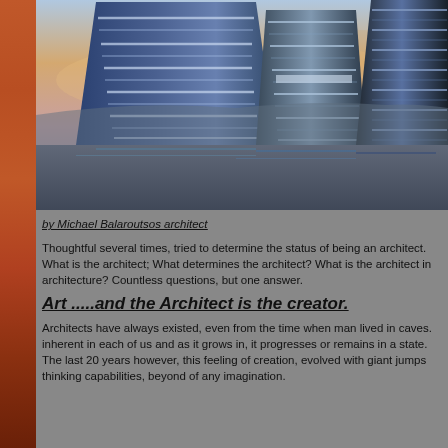[Figure (photo): Three futuristic glass skyscrapers standing in water with a dramatic sunset sky background. The towers have distinctive striped horizontal banding and twisted/tapered forms reflected in calm water below.]
by Michael Balaroutsos architect
Thoughtful several times, tried to determine the status of being an architect. What is the architect; What determines the architect? What is the architect in architecture? Countless questions, but one answer.
Art .....and the Architect is the creator.
Architects have always existed, even from the time when man lived in caves. inherent in each of us and as it grows in, it progresses or remains in a state. The last 20 years however, this feeling of creation, evolved with giant jumps thinking capabilities, beyond of any imagination.